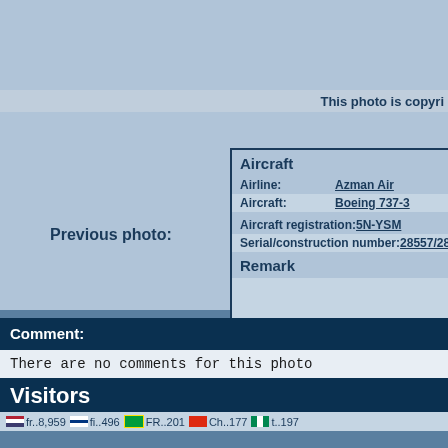[Figure (screenshot): Aircraft photo area with blue-gray background, partially visible copyright bar]
This photo is copyri
Previous photo:
| Aircraft |  |
| --- | --- |
| Airline: | Azman Air |
| Aircraft: | Boeing 737-3 |
| Aircraft registration: | 5N-YSM |
| Serial/construction number: | 28557/2862 |
| Remark |  |
Comment:
There are no comments for this photo
Visitors
flags row